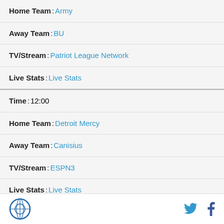| Home Team | Army |
| Away Team | BU |
| TV/Stream | Patriot League Network |
| Live Stats | Live Stats |
| Time | 12:00 |
| Home Team | Detroit Mercy |
| Away Team | Canisius |
| TV/Stream | ESPN3 |
| Live Stats | Live Stats |
| Time | 12:00 |
| Home Team | Duke |
Logo | Twitter | Facebook